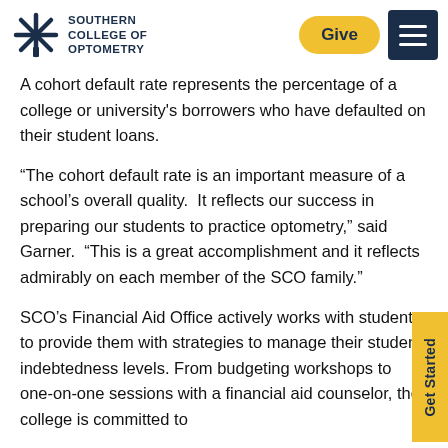SOUTHERN COLLEGE OF OPTOMETRY
A cohort default rate represents the percentage of a college or university's borrowers who have defaulted on their student loans.
“The cohort default rate is an important measure of a school’s overall quality.  It reflects our success in preparing our students to practice optometry,” said Garner.  “This is a great accomplishment and it reflects admirably on each member of the SCO family.”
SCO’s Financial Aid Office actively works with students to provide them with strategies to manage their student indebtedness levels. From budgeting workshops to one-on-one sessions with a financial aid counselor, the college is committed to